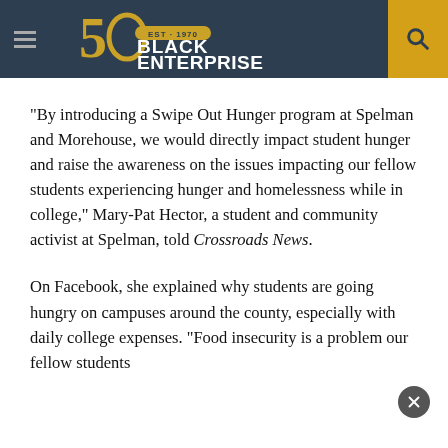Black Enterprise — Est. 1970
“By introducing a Swipe Out Hunger program at Spelman and Morehouse, we would directly impact student hunger and raise the awareness on the issues impacting our fellow students experiencing hunger and homelessness while in college,” Mary-Pat Hector, a student and community activist at Spelman, told Crossroads News.
On Facebook, she explained why students are going hungry on campuses around the county, especially with daily college expenses. “Food insecurity is a problem our fellow students...